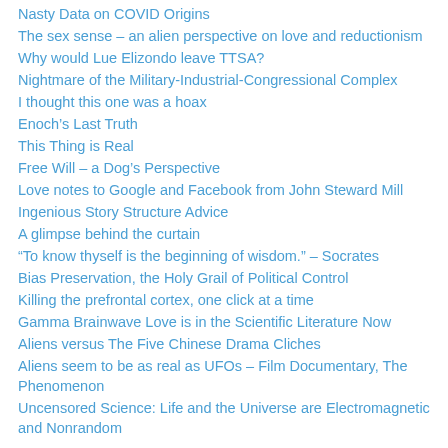Nasty Data on COVID Origins
The sex sense – an alien perspective on love and reductionism
Why would Lue Elizondo leave TTSA?
Nightmare of the Military-Industrial-Congressional Complex
I thought this one was a hoax
Enoch's Last Truth
This Thing is Real
Free Will – a Dog's Perspective
Love notes to Google and Facebook from John Steward Mill
Ingenious Story Structure Advice
A glimpse behind the curtain
“To know thyself is the beginning of wisdom.” – Socrates
Bias Preservation, the Holy Grail of Political Control
Killing the prefrontal cortex, one click at a time
Gamma Brainwave Love is in the Scientific Literature Now
Aliens versus The Five Chinese Drama Cliches
Aliens seem to be as real as UFOs – Film Documentary, The Phenomenon
Uncensored Science: Life and the Universe are Electromagnetic and Nonrandom